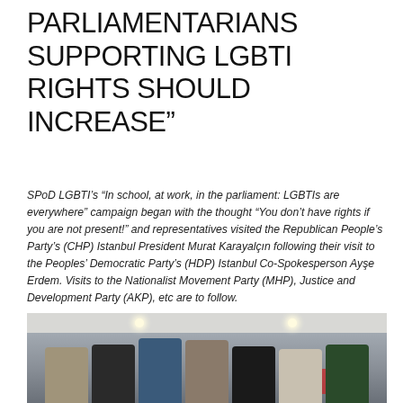PARLIAMENTARIANS SUPPORTING LGBTI RIGHTS SHOULD INCREASE”
SPoD LGBTI’s “In school, at work, in the parliament: LGBTIs are everywhere” campaign began with the thought “You don’t have rights if you are not present!” and representatives visited the Republican People’s Party’s (CHP) Istanbul President Murat Karayalcın following their visit to the Peoples’ Democratic Party’s (HDP) Istanbul Co-Spokesperson Ayşe Erdem. Visits to the Nationalist Movement Party (MHP), Justice and Development Party (AKP), etc are to follow.
[Figure (photo): Group photo of seven people standing indoors in a room with recessed ceiling lights and a red banner/flag in the background.]